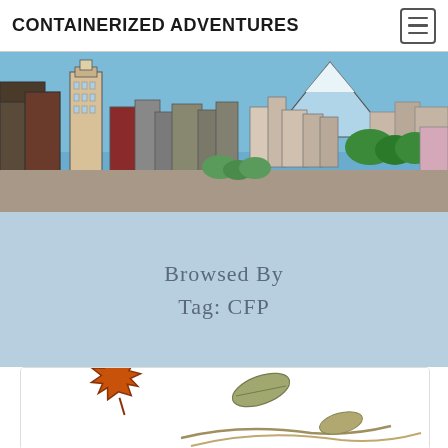CONTAINERIZED ADVENTURES
[Figure (illustration): Illustrated city skyline with tall buildings and a snow-capped mountain in the background against a blue sky]
Browsed By
Tag: CFP
[Figure (illustration): Autumn and plant leaves illustration — an orange maple leaf on the left and green/beige curved plant leaves on the right, on a white background]